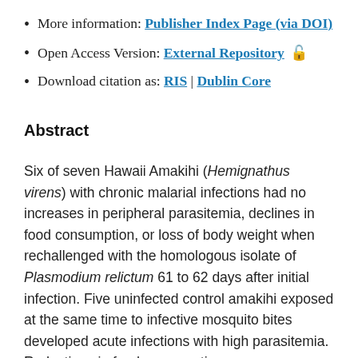More information: Publisher Index Page (via DOI)
Open Access Version: External Repository 🔓
Download citation as: RIS | Dublin Core
Abstract
Six of seven Hawaii Amakihi (Hemignathus virens) with chronic malarial infections had no increases in peripheral parasitemia, declines in food consumption, or loss of body weight when rechallenged with the homologous isolate of Plasmodium relictum 61 to 62 days after initial infection. Five uninfected control amakihi exposed at the same time to infective mosquito bites developed acute infections with high parasitemia. Reductions in food consumption